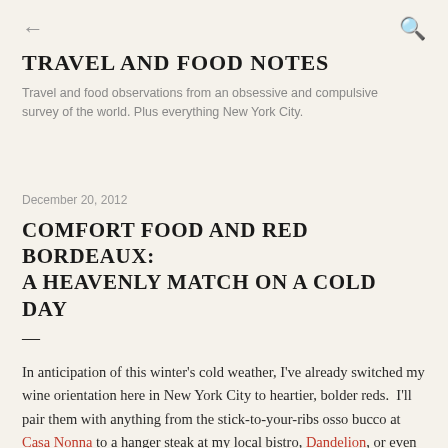← [back] [search]
TRAVEL AND FOOD NOTES
Travel and food observations from an obsessive and compulsive survey of the world. Plus everything New York City.
December 20, 2012
COMFORT FOOD AND RED BORDEAUX: A HEAVENLY MATCH ON A COLD DAY
—
In anticipation of this winter's cold weather, I've already switched my wine orientation here in New York City to heartier, bolder reds.  I'll pair them with anything from the stick-to-your-ribs osso bucco at Casa Nonna to a hanger steak at my local bistro, Dandelion, or even